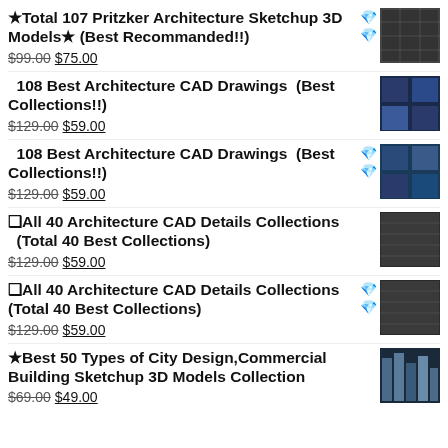★Total 107 Pritzker Architecture Sketchup 3D Models★ (Best Recommanded!!) $99.00 $75.00
108 Best Architecture CAD Drawings (Best Collections!!) $129.00 $59.00
108 Best Architecture CAD Drawings (Best Collections!!) $129.00 $59.00
❑All 40 Architecture CAD Details Collections (Total 40 Best Collections) $129.00 $59.00
❑All 40 Architecture CAD Details Collections (Total 40 Best Collections) $129.00 $59.00
★Best 50 Types of City Design,Commercial Building Sketchup 3D Models Collection $69.00 $49.00